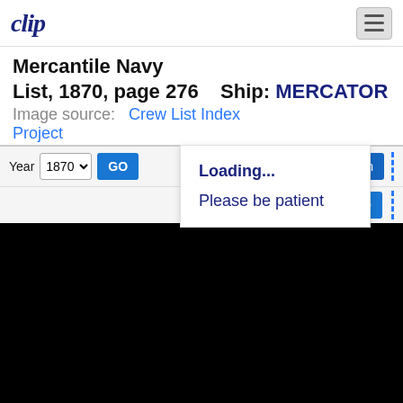clip [logo] [hamburger menu]
Mercantile Navy List, 1870, page 276   Ship: MERCATOR
Image source: Crew List Index Project
Year 1870 GO   Notes   Search again   Page 276 GO
Loading...
Please be patient
[Figure (other): Black image/loading area covering lower portion of page]